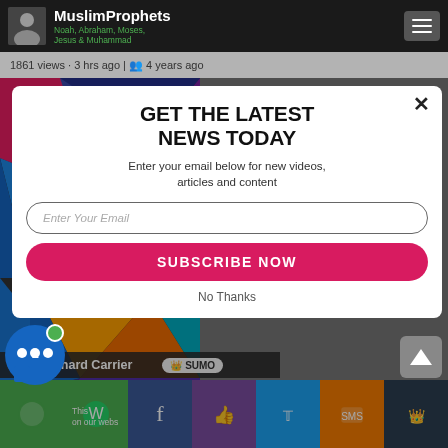MuslimProphets Noah, Abraham, Moses, Jesus & Muhammad
1861 views · 3 hrs ago | 4 years ago
[Figure (screenshot): Colorful geometric 3D cube pattern on left side of modal background]
GET THE LATEST NEWS TODAY
Enter your email below for new videos, articles and content
Enter Your Email
SUBSCRIBE NOW
No Thanks
his Richard Carrier
SUMO
This on our webs